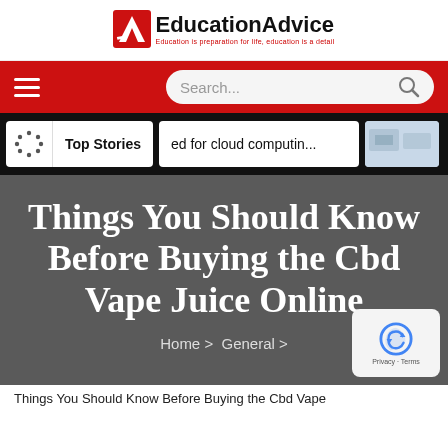EducationAdvice — Education is preparation for life, education is a detail
[Figure (screenshot): Navigation bar with hamburger menu and search box on red background]
[Figure (screenshot): Stories bar with Top Stories card, cloud computing card, and image card]
Things You Should Know Before Buying the Cbd Vape Juice Online
Home > General >
Things You Should Know Before Buying the Cbd Vape